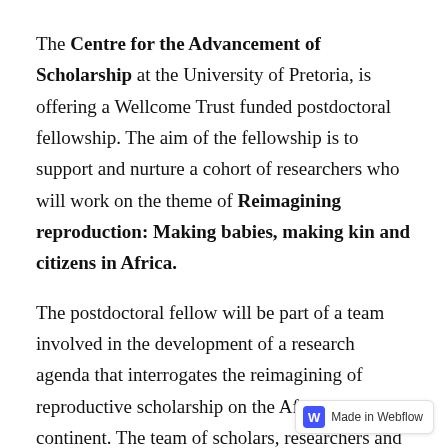The Centre for the Advancement of Scholarship at the University of Pretoria, is offering a Wellcome Trust funded postdoctoral fellowship. The aim of the fellowship is to support and nurture a cohort of researchers who will work on the theme of Reimagining reproduction: Making babies, making kin and citizens in Africa.
The postdoctoral fellow will be part of a team involved in the development of a research agenda that interrogates the reimagining of reproductive scholarship on the African continent. The team of scholars, researchers and mentors are based in five countries – Ghana, eSwatini, Malawi, South Africa and Uganda. We are currently seeking applications for prospective candidates in Ghana. The project has two